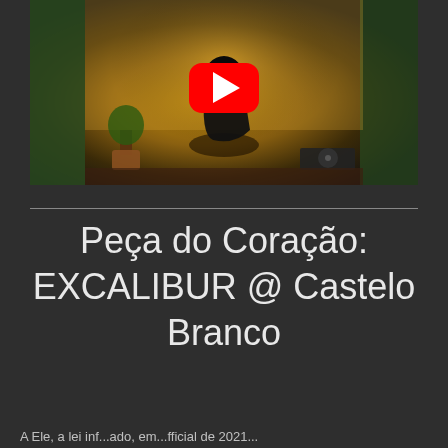[Figure (screenshot): YouTube video thumbnail showing a person crouching in a dimly lit room with a plant and turntable, with a red YouTube play button overlay]
Peça do Coração: EXCALIBUR @ Castelo Branco
A Ele, a lei inf...ado, em...fficial de 2021...